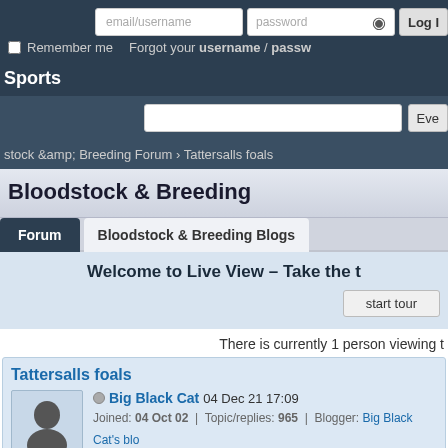email/username | password | Log In | Remember me | Forgot your username / password
Sports
stock &amp; Breeding Forum › Tattersalls foals
Bloodstock & Breeding
Forum | Bloodstock & Breeding Blogs
Welcome to Live View – Take the t
start tour
There is currently 1 person viewing t
Tattersalls foals
Big Black Cat 04 Dec 21 17:09 Joined: 04 Oct 02 | Topic/replies: 965 | Blogger: Big Black Cat's blo